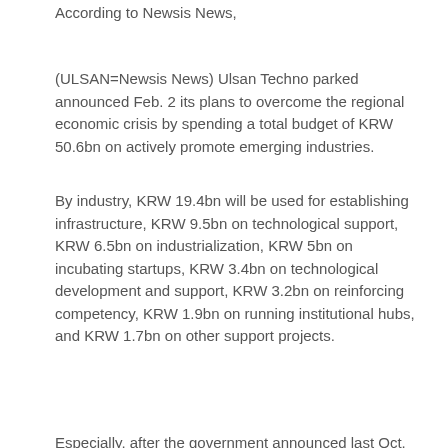According to Newsis News,
(ULSAN=Newsis News) Ulsan Techno parked announced Feb. 2 its plans to overcome the regional economic crisis by spending a total budget of KRW 50.6bn on actively promote emerging industries.
By industry, KRW 19.4bn will be used for establishing infrastructure, KRW 9.5bn on technological support, KRW 6.5bn on industrialization, KRW 5bn on incubating startups, KRW 3.4bn on technological development and support, KRW 3.2bn on reinforcing competency, KRW 1.9bn on running institutional hubs, and KRW 1.7bn on other support projects.
Especially, after the government announced last Oct. its plans to revitalize the economy of shipbuilding centers, Technopark has decided to actively try to find alternative industries in partnership with the City of Ulsan.
Through various projects to build hydrogen filling stations, create eco-friendly energy hubs, raise power Silkroad companies, and support shipbuilding personnel to begin new businesses, Technopark will continue to nurture small, but strong, technology-driven companies.